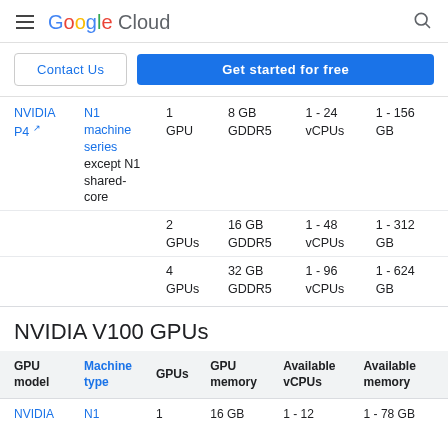Google Cloud
| GPU model | Machine type | GPUs | GPU memory | Available vCPUs | Available memory |
| --- | --- | --- | --- | --- | --- |
| NVIDIA P4 | N1 machine series except N1 shared-core | 1 GPU | 8 GB GDDR5 | 1 - 24 vCPUs | 1 - 156 GB |
|  |  | 2 GPUs | 16 GB GDDR5 | 1 - 48 vCPUs | 1 - 312 GB |
|  |  | 4 GPUs | 32 GB GDDR5 | 1 - 96 vCPUs | 1 - 624 GB |
NVIDIA V100 GPUs
| GPU model | Machine type | GPUs | GPU memory | Available vCPUs | Available memory |
| --- | --- | --- | --- | --- | --- |
| NVIDIA | N1 | 1 | 16 GB | 1 - 12 | 1 - 78 GB |